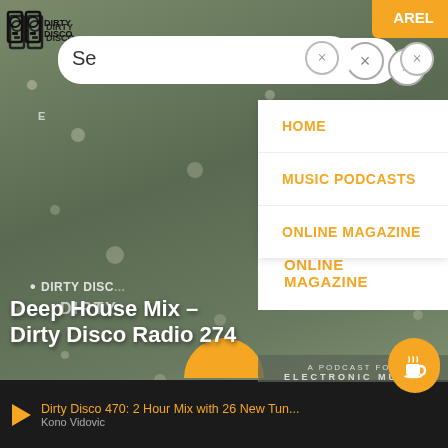[Figure (screenshot): Dirty Disco Radio website screenshot with navigation dropdown menu showing HOME, MUSIC PODCASTS, ONLINE MAGAZINE links, and a podcast page for Deep House Mix - Dirty Disco Radio 274]
Se  X   X   AREL
HOME
MUSIC PODCASTS
ONLINE MAGAZINE
Deep House Mix – Dirty Disco Radio 274
KONO VIDOVIC   SEPTEMBER 24, 2018   451
Dirty Disco 470: 2 Hour Mix with 26 New Tun...
Kono Vidovic